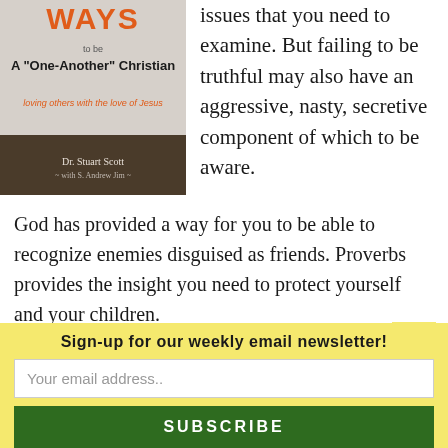[Figure (illustration): Book cover for 'Ways to be a One-Another Christian: loving others with the love of Jesus' by Dr. Stuart Scott with S. Andrew Jim. Cover shows brick wall background with wooden floor.]
issues that you need to examine. But failing to be truthful may also have an aggressive, nasty, secretive component of which to be aware.
God has provided a way for you to be able to recognize enemies disguised as friends. Proverbs provides the insight you need to protect yourself and your children.
Proverbs 27:5-6 combines two real life examples to
Sign-up for our weekly email newsletter!
Your email address..
SUBSCRIBE